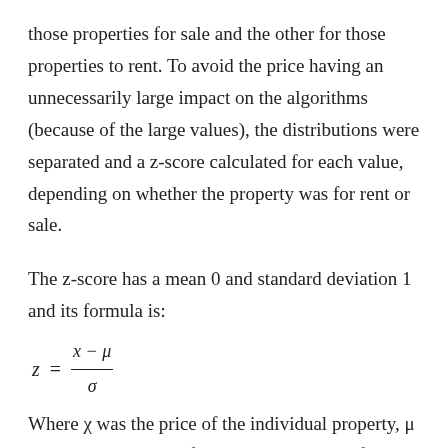those properties for sale and the other for those properties to rent. To avoid the price having an unnecessarily large impact on the algorithms (because of the large values), the distributions were separated and a z-score calculated for each value, depending on whether the property was for rent or sale.
The z-score has a mean 0 and standard deviation 1 and its formula is:
Where χ was the price of the individual property, μ was the mean price of all properties (either for rent or for sale) and σ was the standard deviation of the price of the properties (either for rent or for sale). Once z-